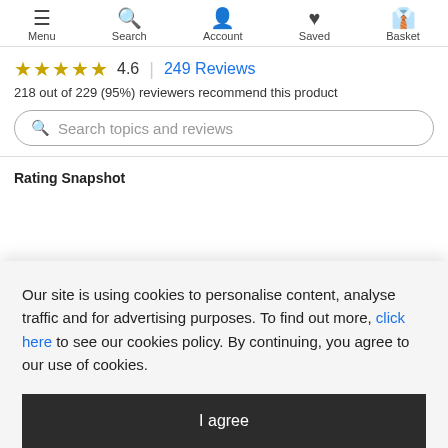Menu | Search | Account | Saved | Basket
★★★★★ 4.6 | 249 Reviews
218 out of 229 (95%) reviewers recommend this product
Search topics and reviews
Rating Snapshot
Our site is using cookies to personalise content, analyse traffic and for advertising purposes. To find out more, click here to see our cookies policy. By continuing, you agree to our use of cookies.
I agree